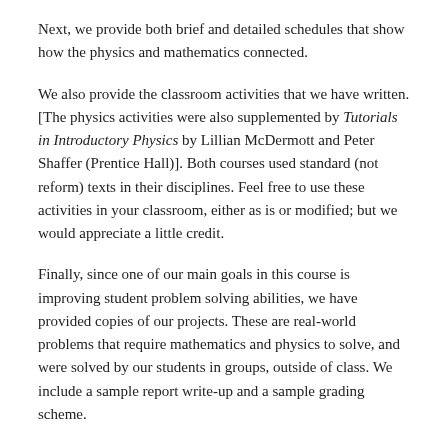Next, we provide both brief and detailed schedules that show how the physics and mathematics connected.
We also provide the classroom activities that we have written. [The physics activities were also supplemented by Tutorials in Introductory Physics by Lillian McDermott and Peter Shaffer (Prentice Hall)]. Both courses used standard (not reform) texts in their disciplines. Feel free to use these activities in your classroom, either as is or modified; but we would appreciate a little credit.
Finally, since one of our main goals in this course is improving student problem solving abilities, we have provided copies of our projects. These are real-world problems that require mathematics and physics to solve, and were solved by our students in groups, outside of class. We include a sample report write-up and a sample grading scheme.